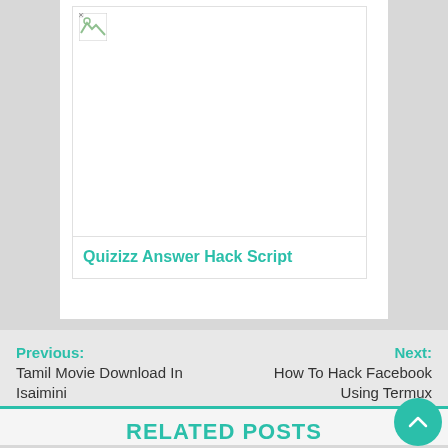[Figure (screenshot): Broken image placeholder thumbnail for Quizizz Answer Hack Script article]
Quizizz Answer Hack Script
Previous: Tamil Movie Download In Isaimini
Next: How To Hack Facebook Using Termux
RELATED POSTS